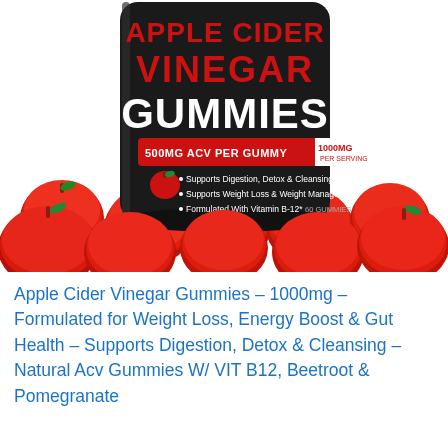[Figure (photo): Apple Cider Vinegar Gummies product bottle with black label showing red text 'APPLE CIDER VINEGAR GUMMIES', '500MG ACV PER GUMMY', '1000MG PER SERVING', bullet points listing benefits, surrounded by red apple-shaped gummies]
Apple Cider Vinegar Gummies – 1000mg – Formulated for Weight Loss, Energy Boost & Gut Health – Supports Digestion, Detox & Cleansing – Natural Acv Gummies W/ VIT B12, Beetroot & Pomegranate